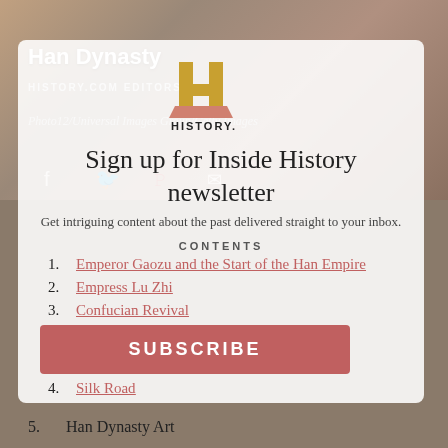Han Dynasty
HISTORY.COM EDITORS •
Photo12/Universal Images Group/Getty Images
[Figure (logo): HISTORY channel H logo in gold with 'HISTORY.' text below]
Sign up for Inside History newsletter
Get intriguing content about the past delivered straight to your inbox.
CONTENTS
Emperor Gaozu and the Start of the Han Empire
Empress Lu Zhi
Confucian Revival
Silk Road
Han Dynasty Art